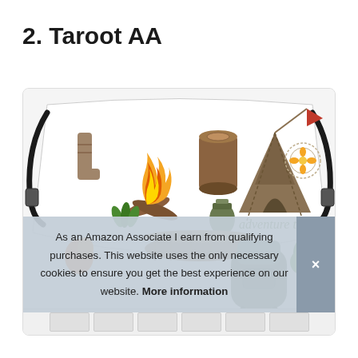2. Taroot AA
[Figure (photo): A face mask with a camping/adventure themed pattern featuring a campfire, tent, logs, socks, trees, backpack, compass, and the text 'adventure time'. The mask has black ear straps.]
As an Amazon Associate I earn from qualifying purchases. This website uses the only necessary cookies to ensure you get the best experience on our website. More information